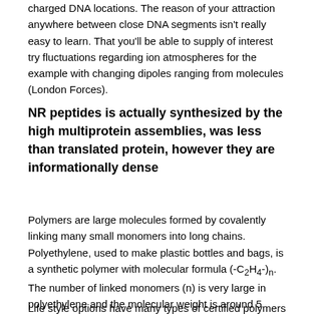charged DNA locations. The reason of your attraction anywhere between close DNA segments isn't really easy to learn. That you'll be able to supply of interest try fluctuations regarding ion atmospheres for the example with changing dipoles ranging from molecules (London Forces).
NR peptides is actually synthesized by the high multiprotein assemblies, was less than translated protein, however they are informationally dense
Polymers are large molecules formed by covalently linking many small monomers into long chains. Polyethylene, used to make plastic bottles and bags, is a synthetic polymer with molecular formula (-C2H4-)n. The number of linked monomers (n) is very large in polyethylene and the molecular weight is around 5 million Daltons.
Life style options have many types of certified polymers but